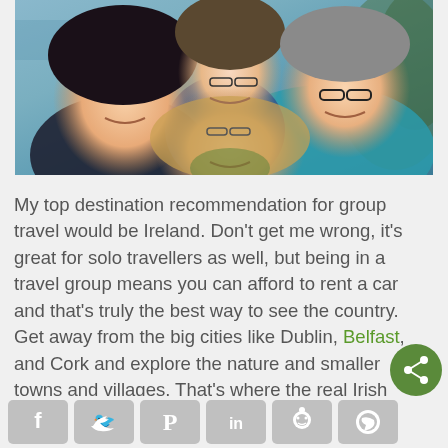[Figure (photo): Selfie photo of four smiling people outdoors, one wearing glasses and a grey beanie, one in a teal/blue jacket, one with dark hair, one with blonde/red hair with glasses on forehead.]
My top destination recommendation for group travel would be Ireland. Don't get me wrong, it's great for solo travellers as well, but being in a travel group means you can afford to rent a car and that's truly the best way to see the country. Get away from the big cities like Dublin, Belfast, and Cork and explore the nature and smaller towns and villages. That's where the real Irish magic can be
[Figure (other): Green circular share button with share icon]
[Figure (other): Social media sharing bar with Facebook, Twitter, Pinterest, LinkedIn, Reddit, WhatsApp buttons]